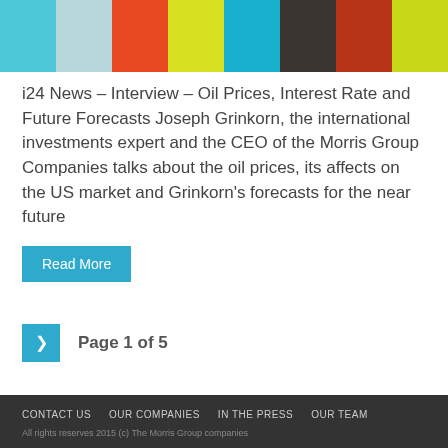[Figure (other): Decorative color bar with 8 colored segments: teal, light blue, orange-red, yellow-green, cyan, dark gray/charcoal, dark red, lime green]
i24 News – Interview – Oil Prices, Interest Rate and Future Forecasts Joseph Grinkorn, the international investments expert and the CEO of the Morris Group Companies talks about the oil prices, its affects on the US market and Grinkorn's forecasts for the near future
Read More
Page 1 of 5
CONTACT US   OUR COMPANIES   IN THE PRESS   OUR TEAM
All rights reserves 2015 (c) The Morris Group companies